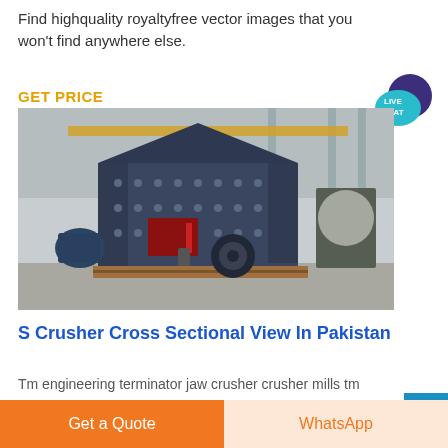Find highquality royaltyfree vector images that you won't find anywhere else.
GET PRICE
[Figure (photo): Large industrial impact crusher machine in a factory/warehouse setting. Dark grey/blue metal body with bolted panels, hydraulic components, electric motor on left, sitting on a wooden pallet on a concrete floor.]
[Figure (other): LIVE CHAT speech bubble icon in teal/dark blue colors, top right corner]
S Crusher Cross Sectional View In Pakistan
Tm engineering terminator jaw crusher crusher mills tm
Get a Quote
WhatsApp